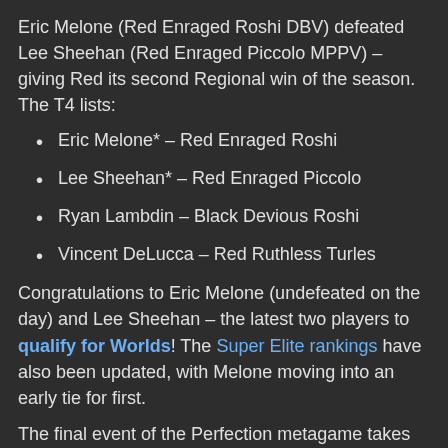Eric Melone (Red Enraged Roshi DBV) defeated Lee Sheehan (Red Enraged Piccolo MPPV) – giving Red its second Regional win of the season. The T4 lists:
Eric Melone* – Red Enraged Roshi
Lee Sheehan* – Red Enraged Piccolo
Ryan Lambdin – Black Devious Roshi
Vincent DeLucca – Red Ruthless Turles
Congratulations to Eric Melone (undefeated on the day) and Lee Sheehan – the latest two players to qualify for Worlds! The Super Elite rankings have also been updated, with Melone moving into an early tie for first.
The final event of the Perfection metagame takes place this weekend in Oregon, and you can still pre-register here! Can the Red Style make it 3 for 3, or will something else step up to the plate before Vengeance?